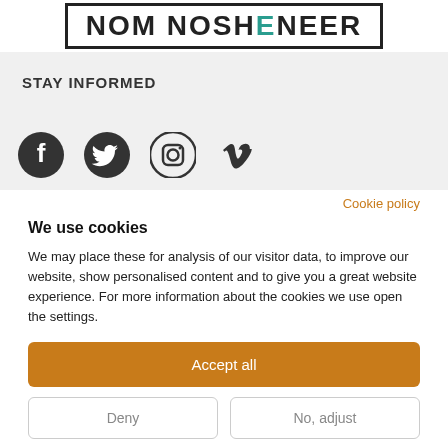[Figure (logo): Website logo/wordmark in a bordered box with teal accent letters]
STAY INFORMED
[Figure (infographic): Row of four social media icons: Facebook, Twitter, Instagram, Vimeo]
Cookie policy
We use cookies
We may place these for analysis of our visitor data, to improve our website, show personalised content and to give you a great website experience. For more information about the cookies we use open the settings.
Accept all
Deny
No, adjust